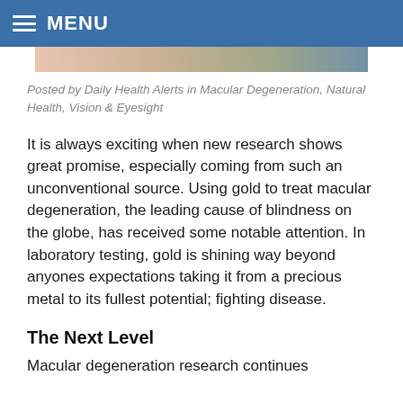MENU
[Figure (photo): Partial photo visible at top of content area]
Posted by Daily Health Alerts in Macular Degeneration, Natural Health, Vision & Eyesight
It is always exciting when new research shows great promise, especially coming from such an unconventional source. Using gold to treat macular degeneration, the leading cause of blindness on the globe, has received some notable attention. In laboratory testing, gold is shining way beyond anyones expectations taking it from a precious metal to its fullest potential; fighting disease.
The Next Level
Macular degeneration research continues